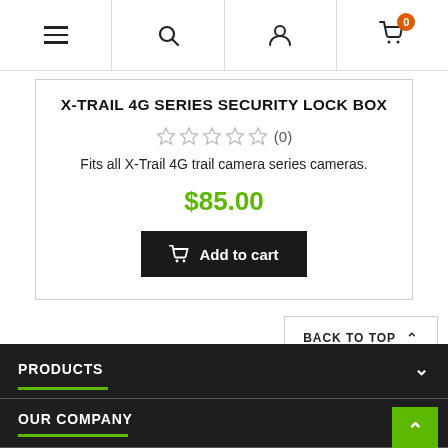Navigation bar with menu, search, account, and cart (0 items)
X-TRAIL 4G SERIES SECURITY LOCK BOX
☆☆☆☆☆ (0)
Fits all X-Trail 4G trail camera series cameras.
$85.00
Add to cart
BACK TO TOP
PRODUCTS
OUR COMPANY